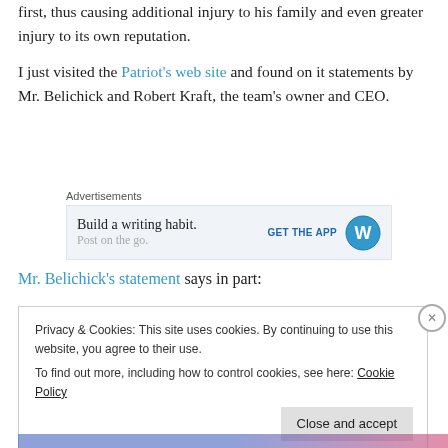first, thus causing additional injury to his family and even greater injury to its own reputation.
I just visited the Patriot's web site and found on it statements by Mr. Belichick and Robert Kraft, the team's owner and CEO.
[Figure (screenshot): Advertisement box with text 'Build a writing habit.' and 'GET THE APP' button with WordPress icon]
Mr. Belichick's statement says in part:
Privacy & Cookies: This site uses cookies. By continuing to use this website, you agree to their use. To find out more, including how to control cookies, see here: Cookie Policy